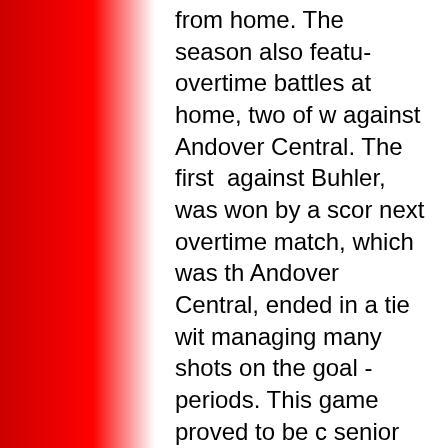[Figure (illustration): Red gradient bar on the left side of the page, fading from solid red on the left to white on the right.]
from home. The season also featured overtime battles at home, two of which were against Andover Central. The first one, against Buhler, was won by a score of 2-1. The next overtime match, which was the rematch against Andover Central, ended in a tie with both managing many shots on the goal during overtime periods. This game proved to be costly as the senior Parker Webb suffered a season ending injury. After finishing the regular season with a 7-1 record, the Rockets started their playoff run against Andover Central. The game was evenly matched and also went two overtime periods. Unlike the last game, the Jaguars scored in the second overtime to finish the Rockets' season 8-1. The program will lose eight seniors who accumulated a 63-13-4 varsity record over the four years, as well as two state championships. The team will look forward to next season where they will hope to reach further into the playoffs.